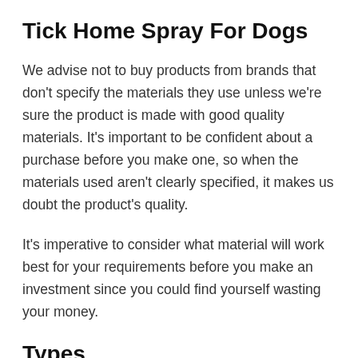Tick Home Spray For Dogs
We advise not to buy products from brands that don't specify the materials they use unless we're sure the product is made with good quality materials. It's important to be confident about a purchase before you make one, so when the materials used aren't clearly specified, it makes us doubt the product's quality.
It's imperative to consider what material will work best for your requirements before you make an investment since you could find yourself wasting your money.
Types